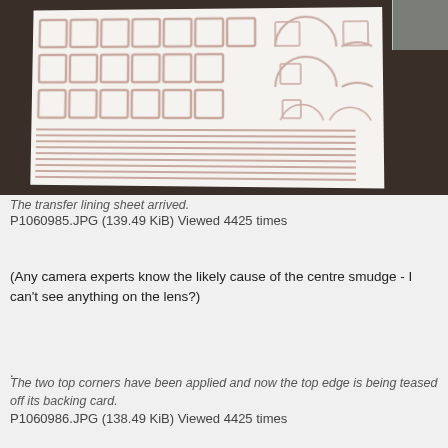[Figure (photo): Photo of a white transfer lining sheet with grid of square tracings on the left, arch/circle tracings on the right, and horizontal line patterns at the bottom, placed on a dark wooden surface.]
The transfer lining sheet arrived.
P1060985.JPG (139.49 KiB) Viewed 4425 times
(Any camera experts know the likely cause of the centre smudge - I can't see anything on the lens?)
.
The two top corners have been applied and now the top edge is being teased off its backing card.
P1060986.JPG (138.49 KiB) Viewed 4425 times